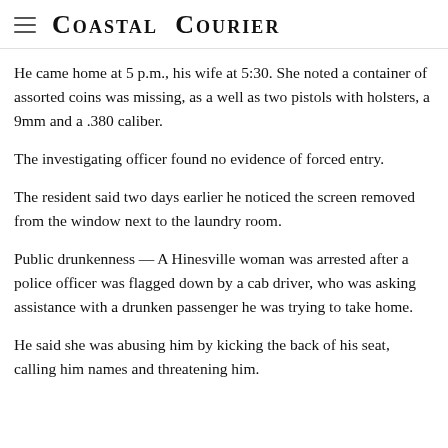Coastal Courier
He came home at 5 p.m., his wife at 5:30. She noted a container of assorted coins was missing, as a well as two pistols with holsters, a 9mm and a .380 caliber.
The investigating officer found no evidence of forced entry.
The resident said two days earlier he noticed the screen removed from the window next to the laundry room.
Public drunkenness — A Hinesville woman was arrested after a police officer was flagged down by a cab driver, who was asking assistance with a drunken passenger he was trying to take home.
He said she was abusing him by kicking the back of his seat, calling him names and threatening him.